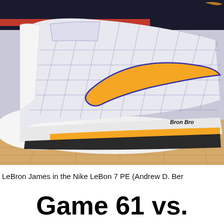[Figure (photo): Close-up photo of a Nike LeBon 7 PE basketball shoe worn by LeBron James. The shoe is white with a purple diamond-pattern upper, a gold Nike swoosh with purple outline, a white midsole, and a gold Air Max unit in the heel. Text 'Bron Bro' is visible on the heel. The shoe is resting on a hardwood basketball court floor.]
LeBron James in the Nike LeBon 7 PE (Andrew D. Ber
Game 61 vs.